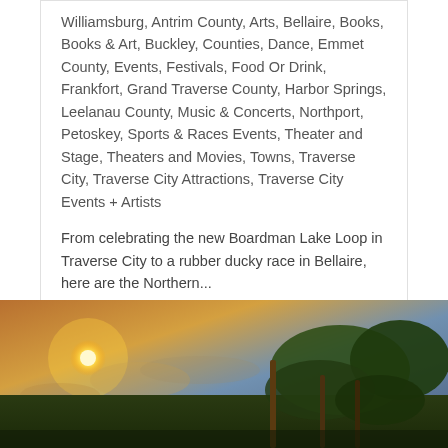Williamsburg, Antrim County, Arts, Bellaire, Books, Books & Art, Buckley, Counties, Dance, Emmet County, Events, Festivals, Food Or Drink, Frankfort, Grand Traverse County, Harbor Springs, Leelanau County, Music & Concerts, Northport, Petoskey, Sports & Races Events, Theater and Stage, Theaters and Movies, Towns, Traverse City, Traverse City Attractions, Traverse City Events + Artists
From celebrating the new Boardman Lake Loop in Traverse City to a rubber ducky race in Bellaire, here are the Northern...
READ ARTICLE
[Figure (photo): Outdoor vineyard photo at sunset/golden hour with sun flare on the left and grapevines with wooden posts on the right, warm orange and green tones]